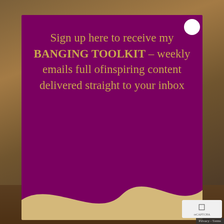[Figure (screenshot): Website popup modal with dark purple background and gold text over a background photo. Text reads: 'Sign up here to receive my BANGING TOOLKIT – weekly emails full ofinspiring content delivered straight to your inbox'. Has a wave design at the bottom in gold/tan color. White circular close button in top right.]